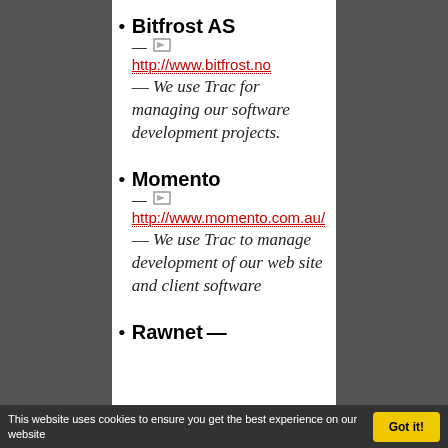Bitfrost AS — http://www.bitfrost.no — We use Trac for managing our software development projects.
Momento — http://www.momento.com.au/ — We use Trac to manage development of our web site and client software
Rawnet —
This website uses cookies to ensure you get the best experience on our website
Got it!